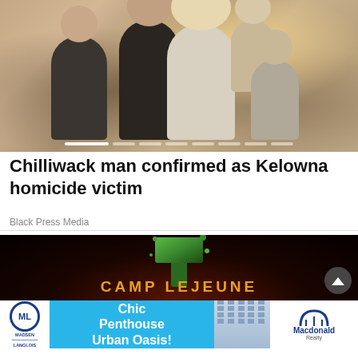[Figure (photo): Family photo showing a man, woman with blonde hair, and three children posed together outdoors with soft sunlight background. Carousel dots visible at bottom of photo.]
Chilliwack man confirmed as Kelowna homicide victim
Black Press Media
[Figure (photo): Camp Lejeune advertisement banner with dark background, green hammer graphic, and text spelling out CAMP LEJEUNE in orange letters. Scroll-to-top button visible at lower right.]
[Figure (photo): Advertisement banner for Macdonald Realty featuring 'Chic Penthouse Urban Oasis!' with Madsen Langlois logo on left, building photo in center, and Macdonald Realty logo on right.]